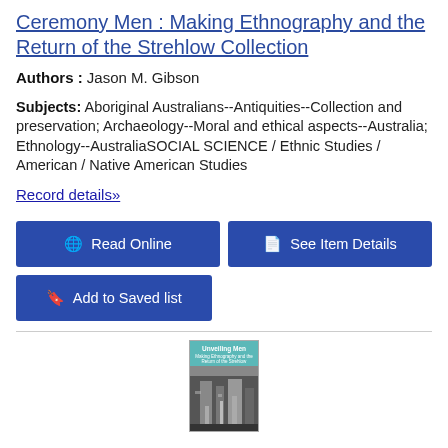Ceremony Men : Making Ethnography and the Return of the Strehlow Collection
Authors : Jason M. Gibson
Subjects: Aboriginal Australians--Antiquities--Collection and preservation; Archaeology--Moral and ethical aspects--Australia; Ethnology--AustraliaSOCIAL SCIENCE / Ethnic Studies / American / Native American Studies
Record details»
Read Online
See Item Details
Add to Saved list
[Figure (photo): Book cover of 'Unveiling Men' with teal/blue top and black and white architectural photograph below]